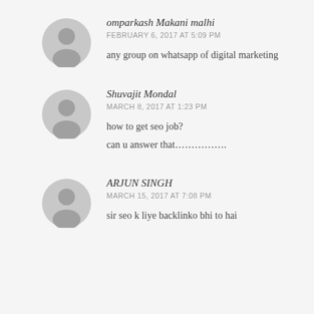omparkash Makani malhi
FEBRUARY 6, 2017 AT 5:09 PM
any group on whatsapp of digital marketing
Shuvajit Mondal
MARCH 8, 2017 AT 1:23 PM
how to get seo job?
can u answer that……………..
ARJUN SINGH
MARCH 15, 2017 AT 7:08 PM
sir seo k liye backlinko bhi to hai